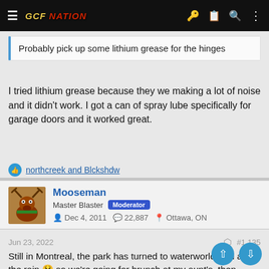GCF Nation [navigation header]
Probably pick up some lithium grease for the hinges
I tried lithium grease because they we making a lot of noise and it didn't work. I got a can of spray lube specifically for garage doors and it worked great.
northcreek and Blckshdw
Mooseman
Master Blaster  Moderator
Dec 4, 2011   22,887   Ottawa, ON
Jun 23, 2022   #1,135
Still in Montreal, the park has turned to waterworld with all the rain 😫 so we're going for brunch at my aunt's, then shopping at a flea market and then back for dinner at the aunt's. Tomorrow ugh day, of course, when the weather turns nice 😁